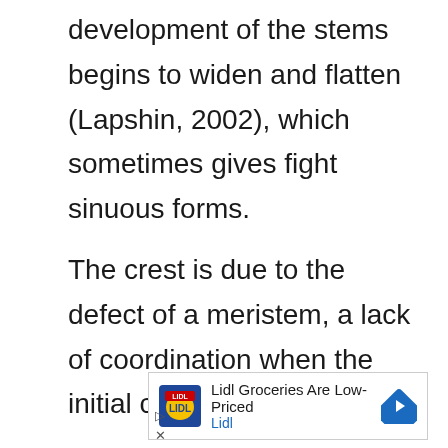development of the stems begins to widen and flatten (Lapshin, 2002), which sometimes gives fight sinuous forms.
The crest is due to the defect of a meristem, a lack of coordination when the initial cells divide.
[Figure (other): Advertisement banner for Lidl Groceries showing Lidl logo, text 'Lidl Groceries Are Low-Priced', 'Lidl', navigation arrow icon, play and close buttons.]